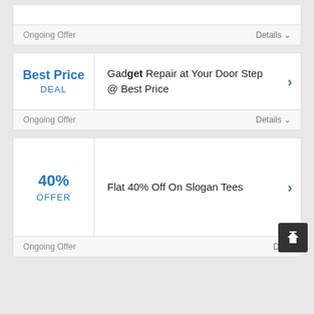[Figure (other): Partial top card showing only footer with 'Ongoing Offer' and 'Details' dropdown]
Ongoing Offer
Details
[Figure (other): Offer card: Best Price DEAL — Gadget Repair at Your Door Step @ Best Price]
Best Price
DEAL
Gadget Repair at Your Door Step @ Best Price
Ongoing Offer
Details
[Figure (other): Offer card: 40% OFFER — Flat 40% Off On Slogan Tees]
40%
OFFER
Flat 40% Off On Slogan Tees
Ongoing Offer
Deta